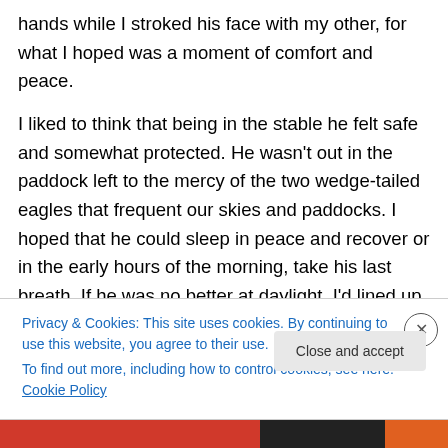hands while I stroked his face with my other, for what I hoped was a moment of comfort and peace.
I liked to think that being in the stable he felt safe and somewhat protected. He wasn't out in the paddock left to the mercy of the two wedge-tailed eagles that frequent our skies and paddocks. I hoped that he could sleep in peace and recover or in the early hours of the morning, take his last breath. If he was no better at daylight, I'd lined up our neighbour to come over with his gun. I know, horrible, but it was equally horrible watching him suffer.
Privacy & Cookies: This site uses cookies. By continuing to use this website, you agree to their use.
To find out more, including how to control cookies, see here: Cookie Policy